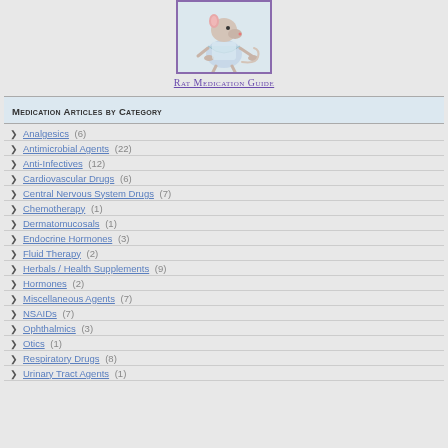[Figure (illustration): Cartoon illustration of a rat wearing a medical gown or nurse outfit, standing upright]
Rat Medication Guide
Medication Articles by Category
Analgesics (6)
Antimicrobial Agents (22)
Anti-Infectives (12)
Cardiovascular Drugs (6)
Central Nervous System Drugs (7)
Chemotherapy (1)
Dermatomucosals (1)
Endocrine Hormones (3)
Fluid Therapy (2)
Herbals / Health Supplements (9)
Hormones (2)
Miscellaneous Agents (7)
NSAIDs (7)
Ophthalmics (3)
Otics (1)
Respiratory Drugs (8)
Urinary Tract Agents (1)